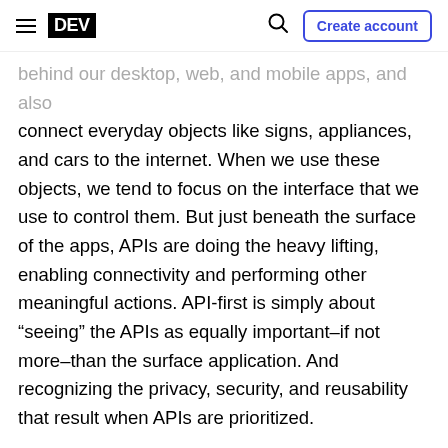DEV | Create account
behind our desktop, web, and mobile apps, and also connect everyday objects like signs, appliances, and cars to the internet. When we use these objects, we tend to focus on the interface that we use to control them. But just beneath the surface of the apps, APIs are doing the heavy lifting, enabling connectivity and performing other meaningful actions. API-first is simply about “seeing” the APIs as equally important–if not more–than the surface application. And recognizing the privacy, security, and reusability that result when APIs are prioritized.
API-first is about prioritization
3 reactions  2 comments  3 saves  more options